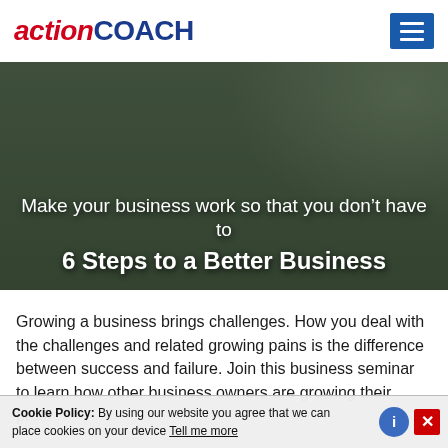[Figure (logo): ActionCOACH logo — 'action' in red italic, 'COACH' in dark blue bold, with a hamburger menu icon on the right in blue]
[Figure (photo): Business seminar scene with audience seated, presenter at front near a screen and ActionCOACH banner. Overlaid text: 'Make your business work so that you don't have to' and '6 Steps to a Better Business']
Make your business work so that you don't have to
6 Steps to a Better Business
Growing a business brings challenges. How you deal with the challenges and related growing pains is the difference between success and failure. Join this business seminar to learn how other business owners are growing their pr...
Cookie Policy: By using our website you agree that we can place cookies on your device Tell me more